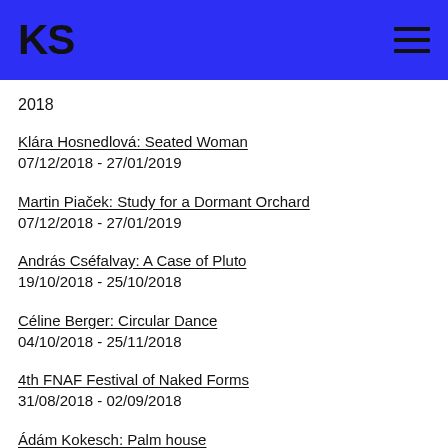KS
2018
Klára Hosnedlová: Seated Woman
07/12/2018 - 27/01/2019
Martin Piaček: Study for a Dormant Orchard
07/12/2018 - 27/01/2019
András Cséfalvay: A Case of Pluto
19/10/2018 - 25/10/2018
Céline Berger: Circular Dance
04/10/2018 - 25/11/2018
4th FNAF Festival of Naked Forms
31/08/2018 - 02/09/2018
Ádám Kokesch: Palm house
30/08/2018 - 23/09/2018
Max Lysáček - Cannibalistic Party: Easter egg